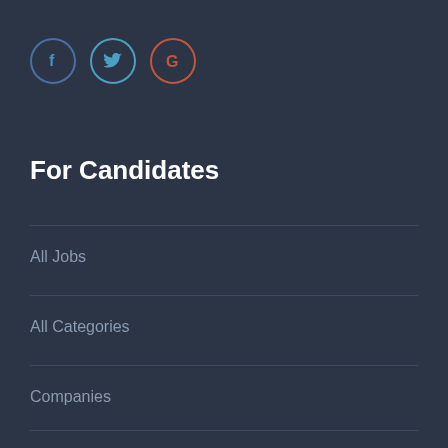[Figure (other): Three social media icon circles: Facebook (blue border, f), Twitter (light blue border, bird), Google (red/orange border, G)]
For Candidates
All Jobs
All Categories
Companies
My Account